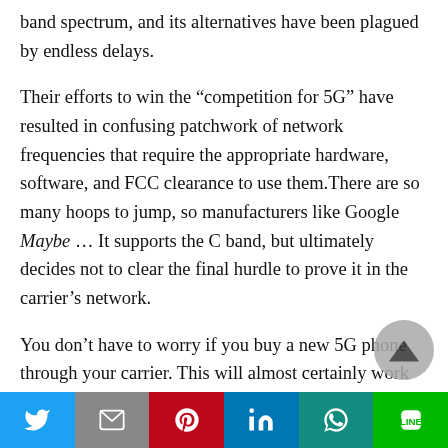band spectrum, and its alternatives have been plagued by endless delays.
Their efforts to win the “competition for 5G” have resulted in confusing patchwork of network frequencies that require the appropriate hardware, software, and FCC clearance to use them.There are so many hoops to jump, so manufacturers like Google Maybe … It supports the C band, but ultimately decides not to clear the final hurdle to prove it in the carrier’s network.
You don’t have to worry if you buy a new 5G phone through your carrier. This will almost certainly work
[Figure (other): Social share bar with Twitter, Gmail, Pinterest, LinkedIn, WhatsApp, and LINE buttons]